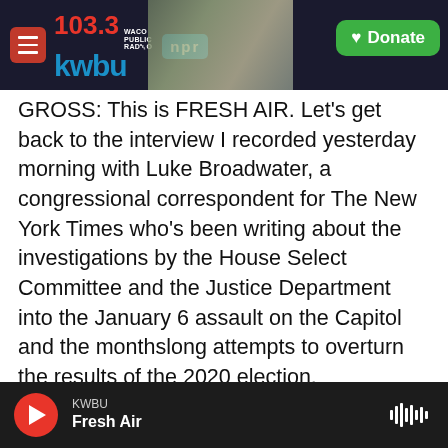103.3 KWBU WACO PUBLIC RADIO | npr | Donate
GROSS: This is FRESH AIR. Let's get back to the interview I recorded yesterday morning with Luke Broadwater, a congressional correspondent for The New York Times who's been writing about the investigations by the House Select Committee and the Justice Department into the January 6 assault on the Capitol and the monthslong attempts to overturn the results of the 2020 election.
So when previous efforts to overturn the election failed, then there was the effort to submit fake electors to the Electoral College so that the Biden electors wouldn't be getting to vote; Trump electors
KWBU | Fresh Air